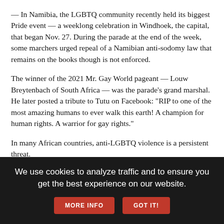— In Namibia, the LGBTQ community recently held its biggest Pride event — a weeklong celebration in Windhoek, the capital, that began Nov. 27. During the parade at the end of the week, some marchers urged repeal of a Namibian anti-sodomy law that remains on the books though is not enforced.
The winner of the 2021 Mr. Gay World pageant — Louw Breytenbach of South Africa — was the parade's grand marshal. He later posted a tribute to Tutu on Facebook: "RIP to one of the most amazing humans to ever walk this earth! A champion for human rights. A warrior for gay rights."
In many African countries, anti-LGBTQ violence is a persistent threat.
A prominent LGBTQ activist in Tunisia reported that two men, one in a police uniform, beat and kicked him during an assault in October they said was punishment for his attempts to file complaints against officers for previous mistreatment. The attack left Badr Baabou, president of the Tunisian Association for Justice and Equality, with
We use cookies to analyze traffic and to ensure you get the best experience on our website.